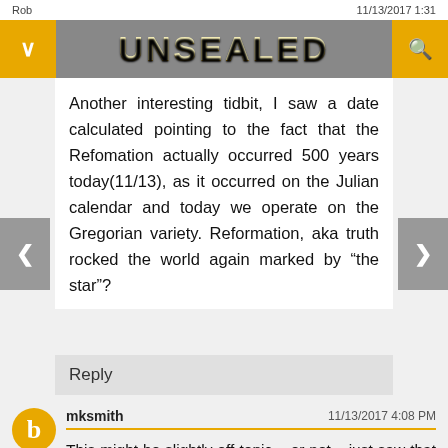Rob | 11/13/2017 1:31
[Figure (screenshot): UNSEALED website navigation bar with yellow chevron button on left, UNSEALED gold logo in center, search icon on right, gray background]
Another interesting tidbit, I saw a date calculated pointing to the fact that the Refomation actually occurred 500 years today(11/13), as it occurred on the Julian calendar and today we operate on the Gregorian variety. Reformation, aka truth rocked the world again marked by "the star"?
Reply
mksmith | 11/13/2017 4:08 PM
This might be slightly off-topic – or not... just saw that the Leonid Meteor Shower will be taking place in the constellation Leo, peak nights are 11/17 & 11/18... so many interesting things happening!